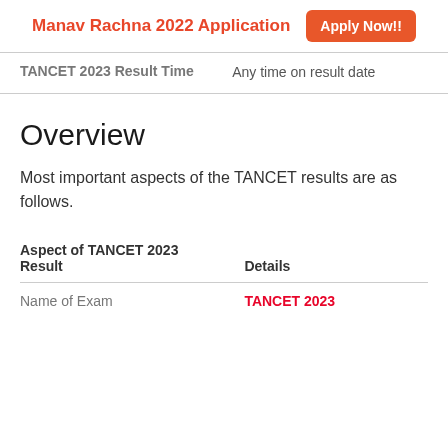Manav Rachna 2022 Application  Apply Now!!
| TANCET 2023 Result Time | Any time on result date |
| --- | --- |
Overview
Most important aspects of the TANCET results are as follows.
| Aspect of TANCET 2023 Result | Details |
| --- | --- |
| Name of Exam | TANCET 2023 |